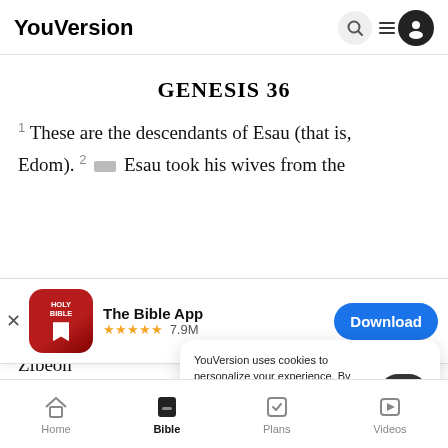YouVersion
GENESIS 36
1 These are the descendants of Esau (that is, Edom). 2 [marker] Esau took his wives from the
[Figure (screenshot): App download banner for The Bible App with Holy Bible icon, 5-star rating 7.9M reviews, and Download button]
Zibeon
daught
YouVersion uses cookies to personalize your experience. By using our website, you accept our use of cookies as described in our Privacy Policy.
Home  Bible  Plans  Videos